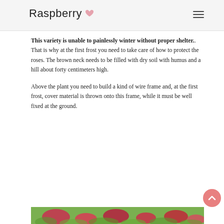Raspberry
This variety is unable to painlessly winter without proper shelter.. That is why at the first frost you need to take care of how to protect the roses. The brown neck needs to be filled with dry soil with humus and a hill about forty centimeters high.
Above the plant you need to build a kind of wire frame and, at the first frost, cover material is thrown onto this frame, while it must be well fixed at the ground.
[Figure (photo): Colorful roses with green foliage, showing red flowers and lush garden plants at the bottom of the page.]